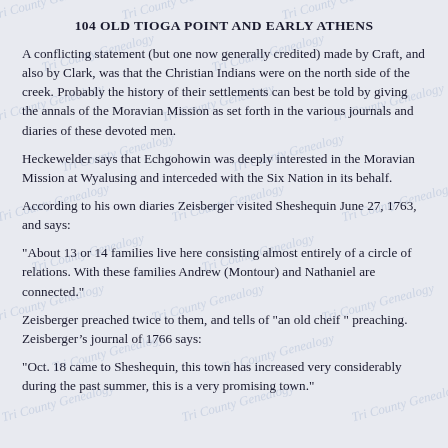104 OLD TIOGA POINT AND EARLY ATHENS
A conflicting statement (but one now generally credited) made by Craft, and also by Clark, was that the Christian Indians were on the north side of the creek. Probably the history of their settlements can best be told by giving the annals of the Moravian Mission as set forth in the various journals and diaries of these devoted men.
Heckewelder says that Echgohowin was deeply interested in the Moravian Mission at Wyalusing and interceded with the Six Nation in its behalf.
According to his own diaries Zeisberger visited Sheshequin June 27, 1763, and says:
"About 13 or 14 families live here consisting almost entirely of a circle of relations. With these families Andrew (Montour) and Nathaniel are connected."
Zeisberger preached twice to them, and tells of "an old cheif" preaching. Zeisberger’s journal of 1766 says:
"Oct. 18 came to Sheshequin, this town has increased very considerably during the past summer, this is a very promising town."